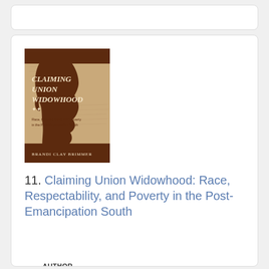[Figure (illustration): Book cover of 'Claiming Union Widowhood: Race, Respectability, and Poverty in the Post-Emancipation South' by Brandi Clay Brimmer. Dark brown cover with a silhouette of a person's profile facing right against a parchment-like background with handwritten text.]
11. Claiming Union Widowhood: Race, Respectability, and Poverty in the Post-Emancipation South
AUTHOR
Brandi Clay Brimmer